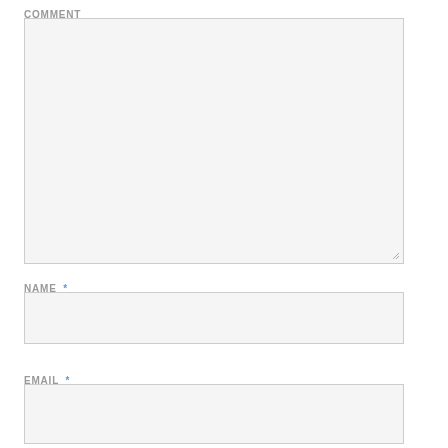COMMENT
[Figure (screenshot): Large textarea input field with light gray background and resize handle in bottom-right corner]
NAME *
[Figure (screenshot): Single-line text input field with light gray background for name entry]
EMAIL *
[Figure (screenshot): Single-line text input field with light gray background for email entry]